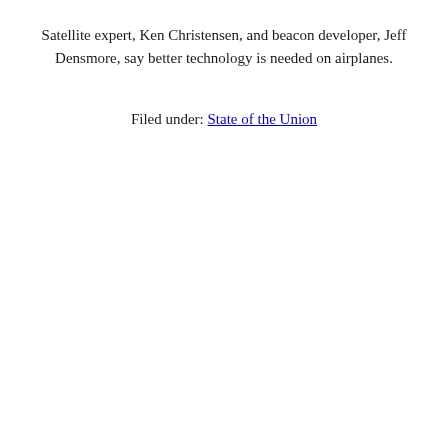Satellite expert, Ken Christensen, and beacon developer, Jeff Densmore, say better technology is needed on airplanes.
Filed under: State of the Union